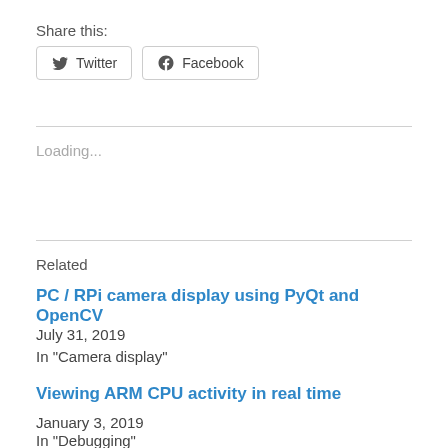Share this:
Twitter   Facebook
Loading...
Related
PC / RPi camera display using PyQt and OpenCV
July 31, 2019
In "Camera display"
Viewing ARM CPU activity in real time
January 3, 2019
In "Debugging"